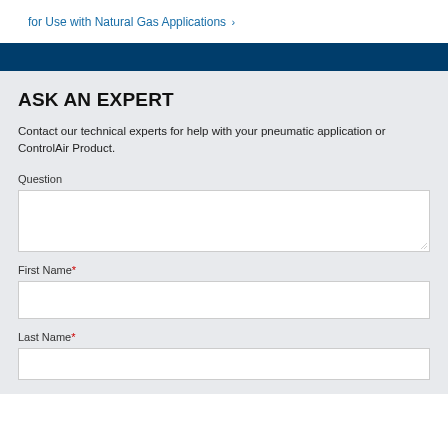for Use with Natural Gas Applications ›
ASK AN EXPERT
Contact our technical experts for help with your pneumatic application or ControlAir Product.
Question
First Name*
Last Name*